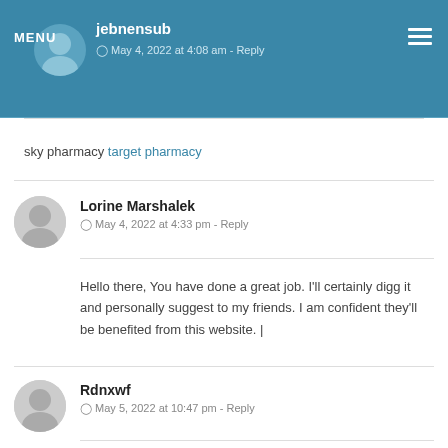MENU | jebnensub | May 4, 2022 at 4:08 am - Reply
sky pharmacy target pharmacy
Lorine Marshalek
May 4, 2022 at 4:33 pm - Reply
Hello there, You have done a great job. I'll certainly digg it and personally suggest to my friends. I am confident they'll be benefited from this website. |
Rdnxwf
May 5, 2022 at 10:47 pm - Reply